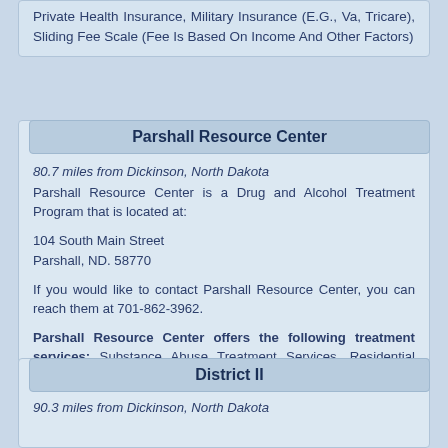Private Health Insurance, Military Insurance (E.G., Va, Tricare), Sliding Fee Scale (Fee Is Based On Income And Other Factors)
Parshall Resource Center
80.7 miles from Dickinson, North Dakota
Parshall Resource Center is a Drug and Alcohol Treatment Program that is located at:

104 South Main Street
Parshall, ND. 58770

If you would like to contact Parshall Resource Center, you can reach them at 701-862-3962.

Parshall Resource Center offers the following treatment services: Substance Abuse Treatment Services, Residential Long-Term Treatment (More Than 30 Days)
Payment forms accepted: Self Payment, Sliding Fee Scale (Fee Is Based On Income And Other Factors)
District II
90.3 miles from Dickinson, North Dakota